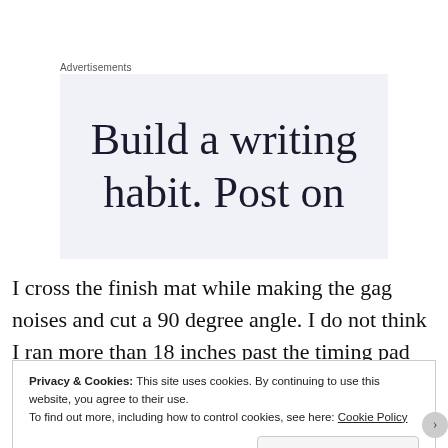Advertisements
[Figure (screenshot): Advertisement banner with large serif text reading 'Build a writing habit. Post on' on a light blue-grey background]
I cross the finish mat while making the gag noises and cut a 90 degree angle. I do not think I ran more than 18 inches past the timing pad before turning. Someone yells
Privacy & Cookies: This site uses cookies. By continuing to use this website, you agree to their use.
To find out more, including how to control cookies, see here: Cookie Policy
Close and accept